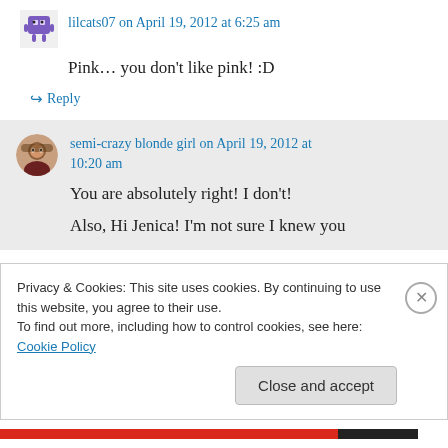[Figure (illustration): Small cartoon avatar (purple robot-like figure) at top left]
lilcats07 on April 19, 2012 at 6:25 am
Pink… you don't like pink! :D
↪ Reply
[Figure (photo): Small circular avatar photo of a woman with glasses]
semi-crazy blonde girl on April 19, 2012 at 10:20 am
You are absolutely right! I don't!
Also, Hi Jenica! I'm not sure I knew you
Privacy & Cookies: This site uses cookies. By continuing to use this website, you agree to their use.
To find out more, including how to control cookies, see here: Cookie Policy
Close and accept